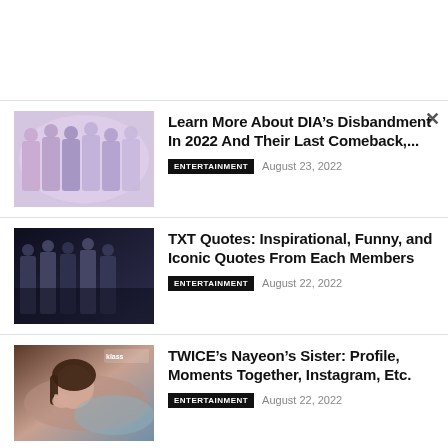[Figure (photo): Group photo of K-pop girl group DIA members posing together]
Learn More About DIA’s Disbandment In 2022 And Their Last Comeback,...
ENTERTAINMENT   August 23, 2022
[Figure (photo): Dark-toned group photo of K-pop boy group TXT members]
TXT Quotes: Inspirational, Funny, and Iconic Quotes From Each Members
ENTERTAINMENT   August 22, 2022
[Figure (photo): Portrait of TWICE’s Nayeon posing with hands near face]
TWICE’s Nayeon’s Sister: Profile, Moments Together, Instagram, Etc.
ENTERTAINMENT   August 22, 2022